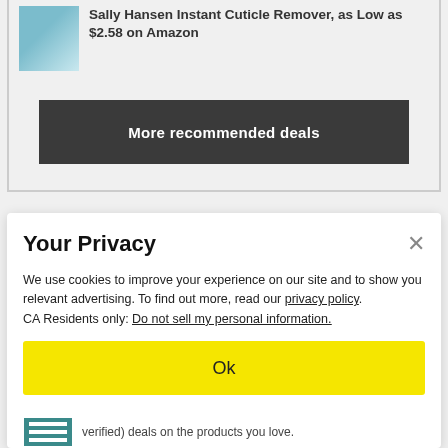Sally Hansen Instant Cuticle Remover, as Low as $2.58 on Amazon
More recommended deals
Your Privacy
We use cookies to improve your experience on our site and to show you relevant advertising. To find out more, read our privacy policy.
CA Residents only: Do not sell my personal information.
Ok
verified) deals on the products you love.